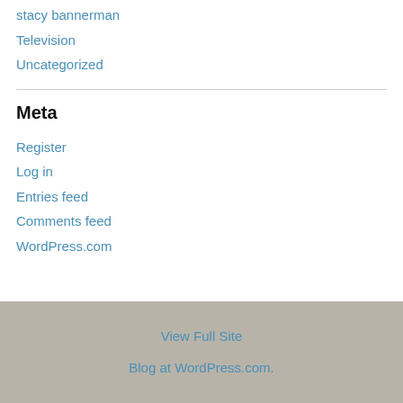stacy bannerman
Television
Uncategorized
Meta
Register
Log in
Entries feed
Comments feed
WordPress.com
View Full Site
Blog at WordPress.com.